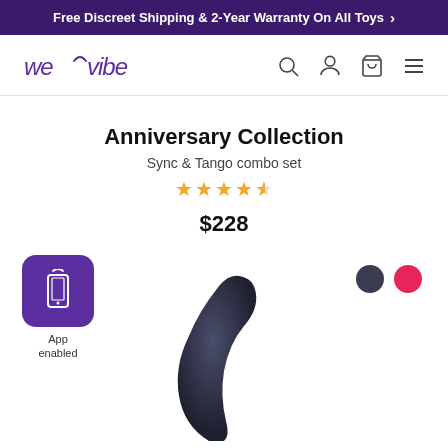Free Discreet Shipping & 2-Year Warranty On All Toys >
[Figure (logo): We-Vibe logo in purple cursive/sans font]
Anniversary Collection
Sync & Tango combo set
[Figure (other): 4.5 star rating shown in yellow stars]
$228
[Figure (infographic): Purple square icon with phone/wireless signal graphic, labeled App enabled]
[Figure (photo): Dark navy/black curved product (Sync vibrator) on white background]